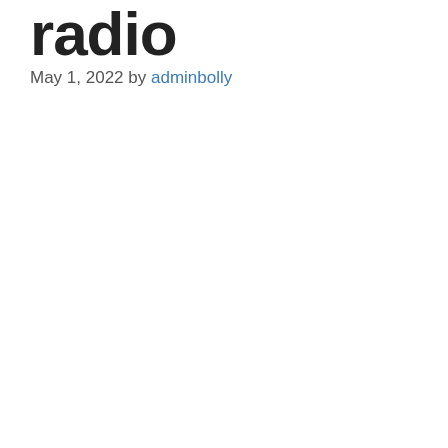radio
May 1, 2022 by adminbolly